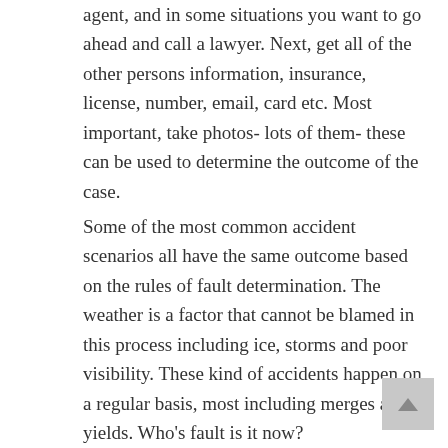agent, and in some situations you want to go ahead and call a lawyer. Next, get all of the other persons information, insurance, license, number, email, card etc. Most important, take photos- lots of them- these can be used to determine the outcome of the case.
Some of the most common accident scenarios all have the same outcome based on the rules of fault determination. The weather is a factor that cannot be blamed in this process including ice, storms and poor visibility. These kind of accidents happen on a regular basis, most including merges and yields. Who's fault is it now? The driving conditions are...